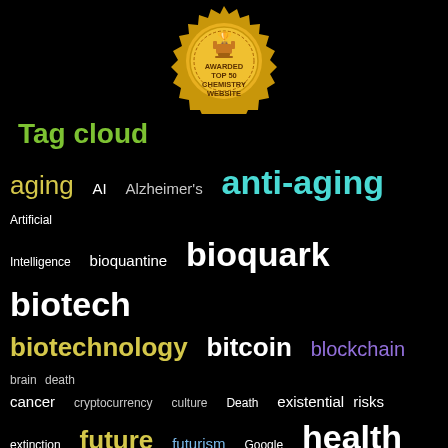[Figure (logo): Gold award badge with trophy icon, text: AWARDED TOP 50 CHEMISTRY WEBSITE]
Tag cloud
[Figure (infographic): Tag cloud with words related to longevity, biotech, and transhumanism in various colors and sizes: aging, AI, Alzheimer's, anti-aging, Artificial Intelligence, bioquantine, bioquark, biotech, biotechnology, bitcoin, blockchain, brain death, cancer, cryptocurrency, culture, Death, existential risks, extinction, future, futurism, Google, health, healthspan, humanity, ideaxme, immortality, Interstellar Travel, ira pastor, Life extension, lifespan, longevity, NASA, Neuroscience, politics, reanima, regenerare, regeneration, research, risks, singularity, space, sustainability, technology, transhumanism, wellness]